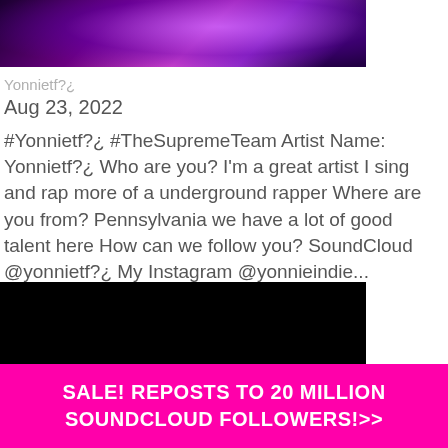[Figure (photo): Top portion of a colorful purple/pink artistic image with glowing effects against a dark background]
Yonnietf?¿
Aug 23, 2022
#Yonnietf?¿ #TheSupremeTeam Artist Name: Yonnietf?¿ Who are you? I'm a great artist I sing and rap more of a underground rapper Where are you from? Pennsylvania we have a lot of good talent here How can we follow you? SoundCloud @yonnietf?¿ My Instagram @yonnieindie...
[Figure (photo): Nearly all-black image, bottom portion of a music-related graphic]
SALE! REPOSTS TO 20 MILLION SOUNDCLOUD FOLLOWERS!>>